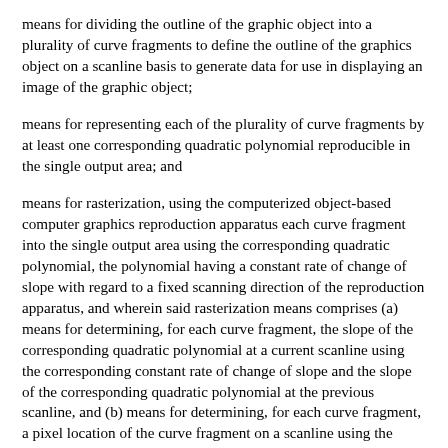means for dividing the outline of the graphic object into a plurality of curve fragments to define the outline of the graphics object on a scanline basis to generate data for use in displaying an image of the graphic object;
means for representing each of the plurality of curve fragments by at least one corresponding quadratic polynomial reproducible in the single output area; and
means for rasterization, using the computerized object-based computer graphics reproduction apparatus each curve fragment into the single output area using the corresponding quadratic polynomial, the polynomial having a constant rate of change of slope with regard to a fixed scanning direction of the reproduction apparatus, and wherein said rasterization means comprises (a) means for determining, for each curve fragment, the slope of the corresponding quadratic polynomial at a current scanline using the corresponding constant rate of change of slope and the slope of the corresponding quadratic polynomial at the previous scanline, and (b) means for determining, for each curve fragment, a pixel location of the curve fragment on a scanline using the current slope of the corresponding quadratic polynomial and the pixel location of the curve fragment on the Previous scanline, and